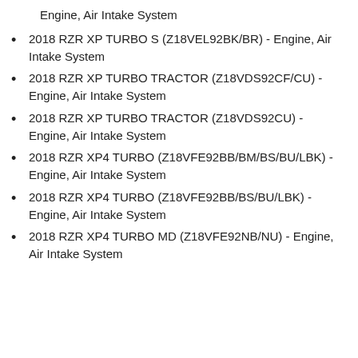Engine, Air Intake System
2018 RZR XP TURBO S (Z18VEL92BK/BR) - Engine, Air Intake System
2018 RZR XP TURBO TRACTOR (Z18VDS92CF/CU) - Engine, Air Intake System
2018 RZR XP TURBO TRACTOR (Z18VDS92CU) - Engine, Air Intake System
2018 RZR XP4 TURBO (Z18VFE92BB/BM/BS/BU/LBK) - Engine, Air Intake System
2018 RZR XP4 TURBO (Z18VFE92BB/BS/BU/LBK) - Engine, Air Intake System
2018 RZR XP4 TURBO MD (Z18VFE92NB/NU) - Engine, Air Intake System